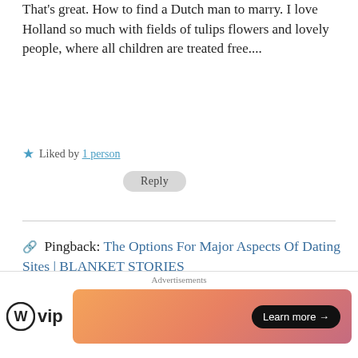That's great. How to find a Dutch man to marry. I love Holland so much with fields of tulips flowers and lovely people, where all children are treated free....
★ Liked by 1 person
Reply
Pingback: The Options For Major Aspects Of Dating Sites | BLANKET STORIES
Jay
April 13, 2018 at 9:27 pm
Hi. I like a dutch guy. We work in same office. Just started
Advertisements
[Figure (logo): WordPress VIP logo and advertisement banner with Learn more button]